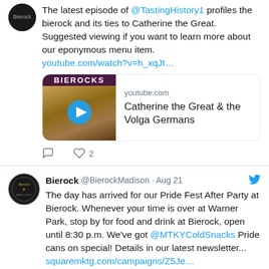The latest episode of @TastingHistory1 profiles the bierock and its ties to Catherine the Great. Suggested viewing if you want to learn more about our eponymous menu item. youtube.com/watch?v=h_xqJt...
[Figure (screenshot): YouTube video card for Catherine the Great & the Volga Germans showing a bierock sandwich thumbnail with play button]
2 likes
Bierock @BierockMadison · Aug 21 — The day has arrived for our Pride Fest After Party at Bierock. Whenever your time is over at Warner Park, stop by for food and drink at Bierock, open until 8:30 p.m. We've got @MTKYColdSnacks Pride cans on special! Details in our latest newsletter... squaremktg.com/campaigns/Z5Je…
[Figure (screenshot): Partial view of a blue media card at the bottom of the page]